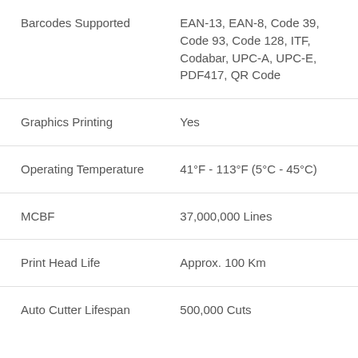| Feature | Value |
| --- | --- |
| Barcodes Supported | EAN-13, EAN-8, Code 39, Code 93, Code 128, ITF, Codabar, UPC-A, UPC-E, PDF417, QR Code |
| Graphics Printing | Yes |
| Operating Temperature | 41°F - 113°F (5°C - 45°C) |
| MCBF | 37,000,000 Lines |
| Print Head Life | Approx. 100 Km |
| Auto Cutter Lifespan | 500,000 Cuts |